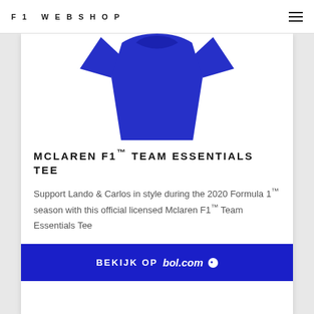F1 WEBSHOP
[Figure (photo): Blue McLaren F1 Team Essentials Tee t-shirt product photo on white background]
MCLAREN F1™ TEAM ESSENTIALS TEE
Support Lando & Carlos in style during the 2020 Formula 1™ season with this official licensed Mclaren F1™ Team Essentials Tee
BEKIJK OP bol.com